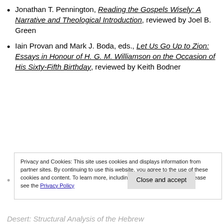Jonathan T. Pennington, Reading the Gospels Wisely: A Narrative and Theological Introduction, reviewed by Joel B. Green
Iain Provan and Mark J. Boda, eds., Let Us Go Up to Zion: Essays in Honour of H. G. M. Williamson on the Occasion of His Sixty-Fifth Birthday, reviewed by Keith Bodner
Privacy and Cookies: This site uses cookies and displays information from partner sites. By continuing to use this website, you agree to the use of these cookies and content. To learn more, including how to control cookies, please see the Privacy Policy
Philippe Wajdenbaum, Argonauts o...
Desert: Structural Analysis of the Hebrew...